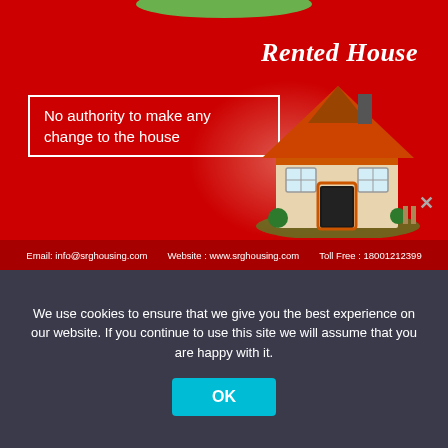[Figure (infographic): Red background advertisement banner for SRG Housing Finance showing 'Rented House' title in italic white script, a text box saying 'No authority to make any change to the house', and an illustrated cartoon house with orange roof on green ground. Footer shows email, website, and toll-free number.]
Nothing Feels Better Than Being Comfortable In Your Own Home Home Loans Finance Mortgage Lenders
We use cookies to ensure that we give you the best experience on our website. If you continue to use this site we will assume that you are happy with it.